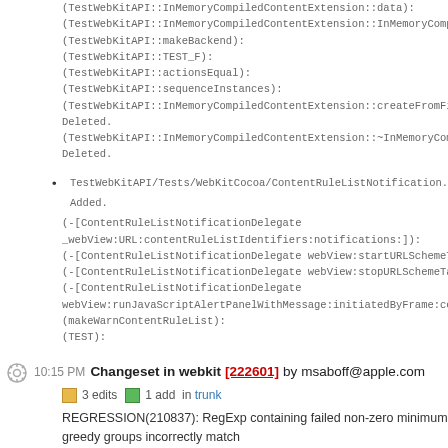(TestWebKitAPI::InMemoryCompiledContentExtension::data):
(TestWebKitAPI::InMemoryCompiledContentExtension::InMemoryCompiledCon
(TestWebKitAPI::makeBackend):
(TestWebKitAPI::TEST_F):
(TestWebKitAPI::actionsEqual):
(TestWebKitAPI::sequenceInstances):
(TestWebKitAPI::InMemoryCompiledContentExtension::createFromFilter):
Deleted.
(TestWebKitAPI::InMemoryCompiledContentExtension::~InMemoryCompiledCo
Deleted.
TestWebKitAPI/Tests/WebKitCocoa/ContentRuleListNotification.mm:
Added.
(-[ContentRuleListNotificationDelegate _webView:URL:contentRuleListIdentifiers:notifications:]):
(-[ContentRuleListNotificationDelegate webView:startURLSchemeTask:]):
(-[ContentRuleListNotificationDelegate webView:stopURLSchemeTask:]):
(-[ContentRuleListNotificationDelegate webView:runJavaScriptAlertPanelWithMessage:initiatedByFrame:completionHa
(makeWarnContentRuleList):
(TEST):
10:15 PM Changeset in webkit [222601] by msaboff@apple.com
3 edits   1 add   in trunk
REGRESSION(210837): RegExp containing failed non-zero minimum greedy groups incorrectly match